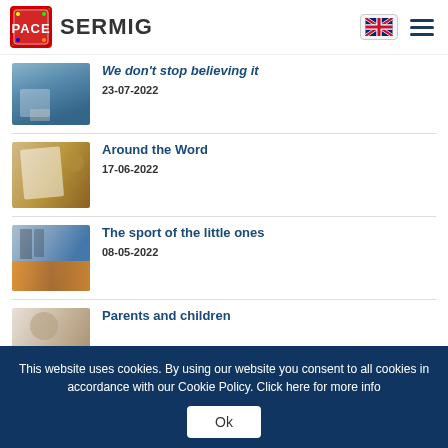PACE SERMIG
We don't stop believing it — 23-07-2022
Around the Word — 17-06-2022
The sport of the little ones — 08-05-2022
Parents and children
This website uses cookies. By using our website you consent to all cookies in accordance with our Cookie Policy. Click here for more info